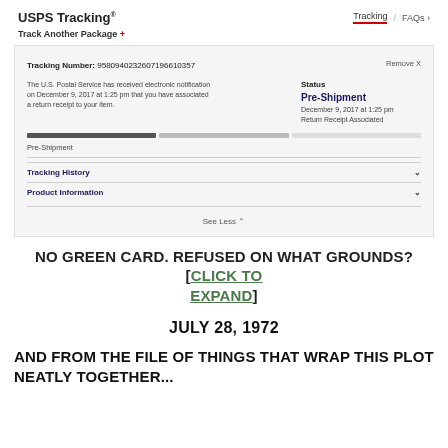USPS Tracking® | Tracking / FAQs
Track Another Package +
[Figure (screenshot): USPS Tracking screenshot showing Tracking Number: 9580940232607196610357, Status: Pre-Shipment, December 9, 2017 at 1:25 pm, Return Receipt Associated. Progress bar shown. Tracking History and Product Information collapsible sections. See Less button.]
NO GREEN CARD. REFUSED ON WHAT GROUNDS? [CLICK TO EXPAND]
JULY 28, 1972
AND FROM THE FILE OF THINGS THAT WRAP THIS PLOT NEATLY TOGETHER...